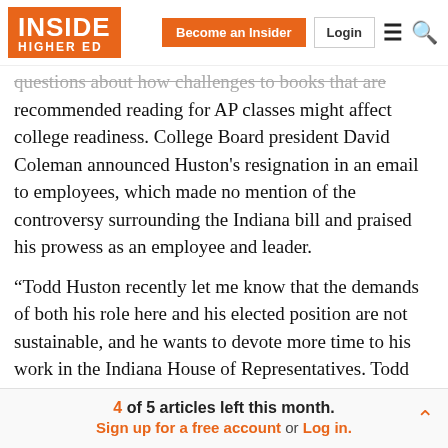INSIDE HIGHER ED | Become an Insider | Login
questions about how challenges to books that are recommended reading for AP classes might affect college readiness. College Board president David Coleman announced Huston's resignation in an email to employees, which made no mention of the controversy surrounding the Indiana bill and praised his prowess as an employee and leader.
“Todd Huston recently let me know that the demands of both his role here and his elected position are not sustainable, and he wants to devote more time to his work in the Indiana House of Representatives. Todd leaves the College Board with a number of extraordinary
4 of 5 articles left this month. Sign up for a free account or Log in.